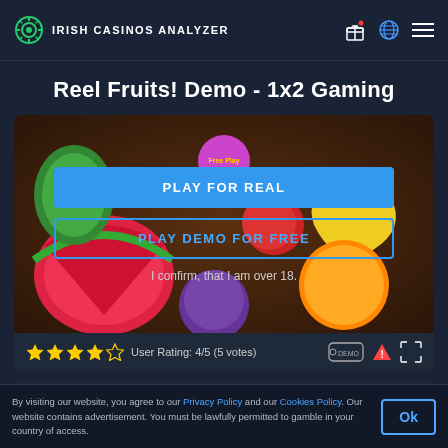IRISH CASINOS ANALYZER
Reel Fruits! Demo - 1x2 Gaming
[Figure (screenshot): Reel Fruits slot game screenshot with overlay buttons: 'PLAY FOR REAL' (blue button), 'PLAY DEMO FOR FREE' (outlined button), a purple circular 'Free Play' badge, fruit symbols in background, and text 'I confirm, that I am over 18.']
User Rating: 4/5 (5 votes)
By visiting our website, you agree to our Privacy Policy and our Cookies Policy. Our website contains advertisement. You must be lawfully permitted to gamble in your country of access.